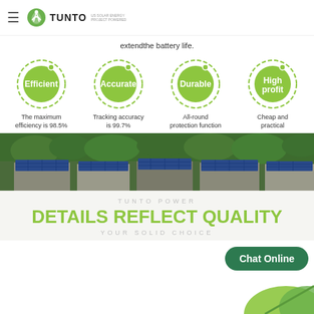TUNTO — US SOLAR ENERGY PROJECT POWERED
extendthe battery life.
[Figure (infographic): Four green circular badge icons labeled: Efficient (The maximum efficiency is 98.5%), Accurate (Tracking accuracy is 99.7%), Durable (All-round protection function), High profit (Cheap and practical)]
[Figure (photo): Aerial photo of residential houses with blue solar panels on rooftops, surrounded by green trees]
TUNTO POWER
DETAILS REFLECT QUALITY
YOUR SOLID CHOICE
Chat Online